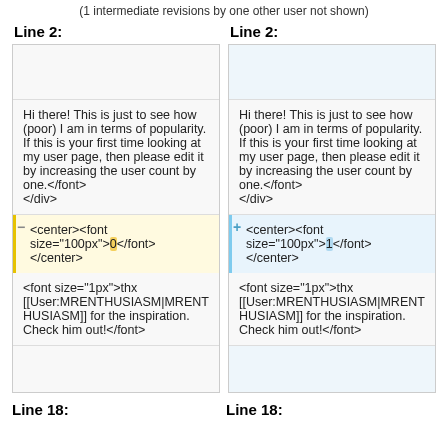(1 intermediate revisions by one other user not shown)
Line 2:
Line 2:
Hi there! This is just to see how (poor) I am in terms of popularity. If this is your first time looking at my user page, then please edit it by increasing the user count by one.</font>
</div>
Hi there! This is just to see how (poor) I am in terms of popularity. If this is your first time looking at my user page, then please edit it by increasing the user count by one.</font>
</div>
<center><font size="100px">0</font>
</center>
<center><font size="100px">1</font>
</center>
<font size="1px">thx [[User:MRENTHUSIASM|MRENTHUSIASM]] for the inspiration. Check him out!</font>
<font size="1px">thx [[User:MRENTHUSIASM|MRENTHUSIASM]] for the inspiration. Check him out!</font>
Line 18:
Line 18: